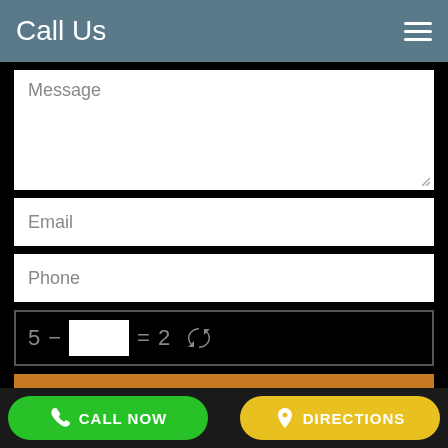Call Us
Message
Email
Phone
5 − [box] = 2 [refresh]
Submit
CALL NOW
DIRECTIONS